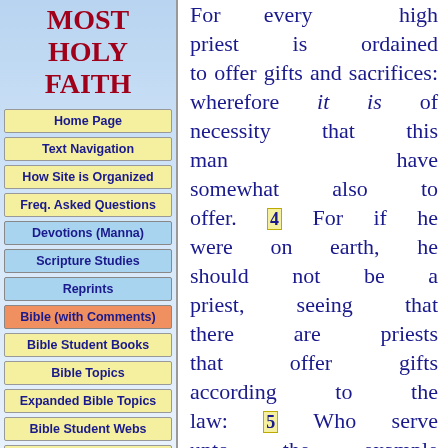MOST HOLY FAITH
Home Page
Text Navigation
How Site is Organized
Freq. Asked Questions
Devotions (Manna)
Scripture Studies
Reprints
Bible (with Comments)
Bible Student Books
Bible Topics
Expanded Bible Topics
Bible Student Webs
Miscellaneous
For every high priest is ordained to offer gifts and sacrifices: wherefore it is of necessity that this man have somewhat also to offer. 4 For if he were on earth, he should not be a priest, seeing that there are priests that offer gifts according to the law: 5 Who serve unto the example and shadow of heavenly things, as Moses was admonished of